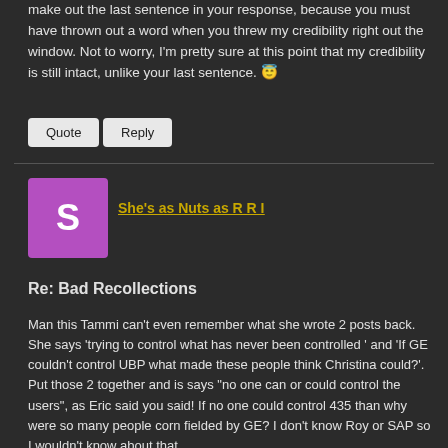make out the last sentence in your response, because you must have thrown out a word when you threw my credibility right out the window. Not to worry, I'm pretty sure at this point that my credibility is still intact, unlike your last sentence. 😇
Quote  Reply
She's as Nuts as R R I
Re: Bad Recollections
Man this Tammi can't even remember what she wrote 2 posts back. She says 'trying to control what has never been controlled ' and 'If GE couldn't control UBP what made these people think Christina could?'. Put those 2 together and is says "no one can or could control the users", as Eric said you said! If no one could control 435 than why were so many people corn fielded by GE? I don't know Roy or SAP so I wouldn't know about that.
I see sheis speeking for R R I again with 'The rule was stated to Christina (who is a repeater owner) and no one mentioned this mysterious exception